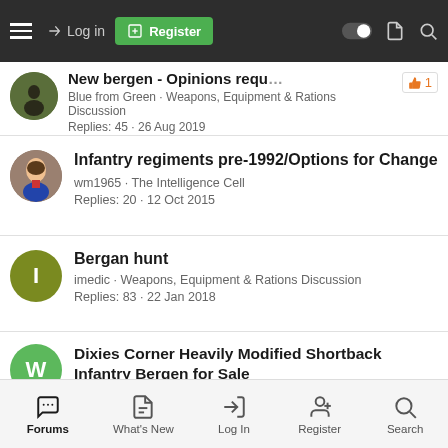Log in | Register
New bergen - Opinions requested. Blue from Green · Weapons, Equipment & Rations Discussion. Replies: 45 · 26 Aug 2019
Infantry regiments pre-1992/Options for Change. wm1965 · The Intelligence Cell. Replies: 20 · 12 Oct 2015
Bergan hunt. imedic · Weapons, Equipment & Rations Discussion. Replies: 83 · 22 Jan 2018
Dixies Corner Heavily Modified Shortback Infantry Bergen for Sale. Wayfarer · Classified Ads. Replies: 0 · 4 Oct 2013
Forums | What's New | Log In | Register | Search